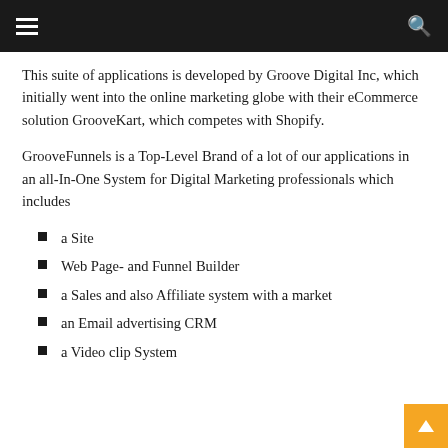navigation bar with hamburger menu and search icon
This suite of applications is developed by Groove Digital Inc, which initially went into the online marketing globe with their eCommerce solution GrooveKart, which competes with Shopify.
GrooveFunnels is a Top-Level Brand of a lot of our applications in an all-In-One System for Digital Marketing professionals which includes
a Site
Web Page- and Funnel Builder
a Sales and also Affiliate system with a market
an Email advertising CRM
a Video clip System